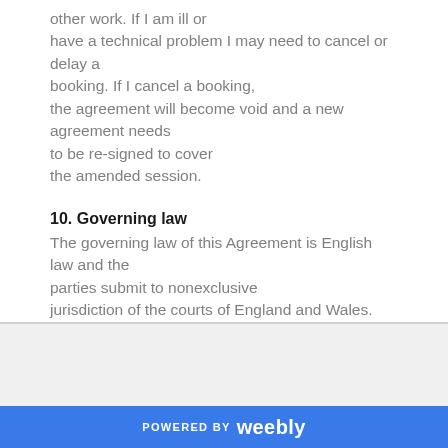other work. If I am ill or have a technical problem I may need to cancel or delay a booking. If I cancel a booking, the agreement will become void and a new agreement needs to be re-signed to cover the amended session.
10. Governing law
The governing law of this Agreement is English law and the parties submit to nonexclusive jurisdiction of the courts of England and Wales.
POWERED BY weebly